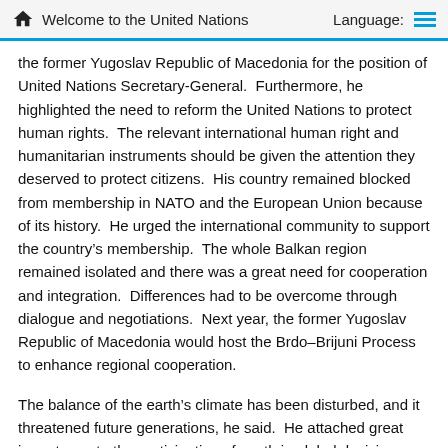Welcome to the United Nations   Language:
the former Yugoslav Republic of Macedonia for the position of United Nations Secretary-General.  Furthermore, he highlighted the need to reform the United Nations to protect human rights.  The relevant international human right and humanitarian instruments should be given the attention they deserved to protect citizens.  His country remained blocked from membership in NATO and the European Union because of its history.  He urged the international community to support the country’s membership.  The whole Balkan region remained isolated and there was a great need for cooperation and integration.  Differences had to be overcome through dialogue and negotiations.  Next year, the former Yugoslav Republic of Macedonia would host the Brdo–Brijuni Process to enhance regional cooperation.
The balance of the earth’s climate has been disturbed, and it threatened future generations, he said.  He attached great importance to the participation of youth in global decision-making, stressing that policies for youth by youth were needed.  Education and employment projects had to be supported and strengthened